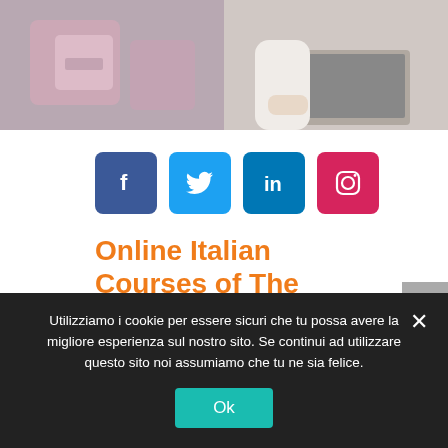[Figure (photo): Woman with laptop sitting on a couch with pink pillows]
[Figure (infographic): Social media icons: Facebook, Twitter, LinkedIn, Instagram]
Online Italian Courses of The Period
In this period in which we necessarily have to stay at home, some of our students have opted for online Italian
Utilizziamo i cookie per essere sicuri che tu possa avere la migliore esperienza sul nostro sito. Se continui ad utilizzare questo sito noi assumiamo che tu ne sia felice.
Ok